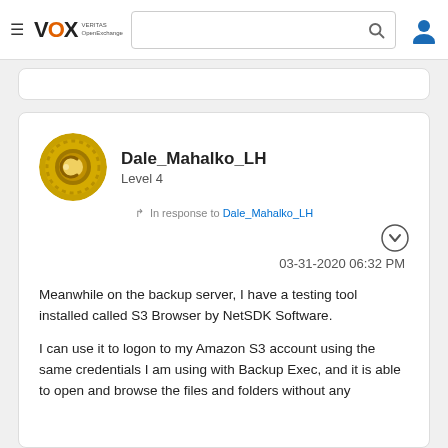VOX VERITAS OpenExchange — navigation bar with search
Dale_Mahalko_LH
Level 4
In response to Dale_Mahalko_LH
03-31-2020 06:32 PM
Meanwhile on the backup server, I have a testing tool installed called S3 Browser by NetSDK Software.
I can use it to logon to my Amazon S3 account using the same credentials I am using with Backup Exec, and it is able to open and browse the files and folders without any